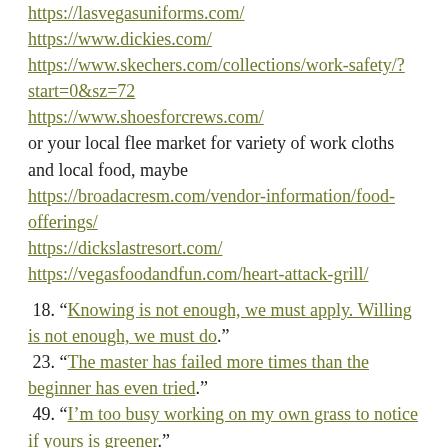https://lasvegasuniforms.com/
https://www.dickies.com/
https://www.skechers.com/collections/work-safety/?start=0&sz=72
https://www.shoesforcrews.com/
or your local flee market for variety of work cloths and local food, maybe
https://broadacresm.com/vendor-information/food-offerings/
https://dickslastresort.com/
https://vegasfoodandfun.com/heart-attack-grill/
18. “Knowing is not enough, we must apply. Willing is not enough, we must do.”
23. “The master has failed more times than the beginner has even tried.”
49. “I’m too busy working on my own grass to notice if yours is greener.”
I can’t get into the best College in America and you may